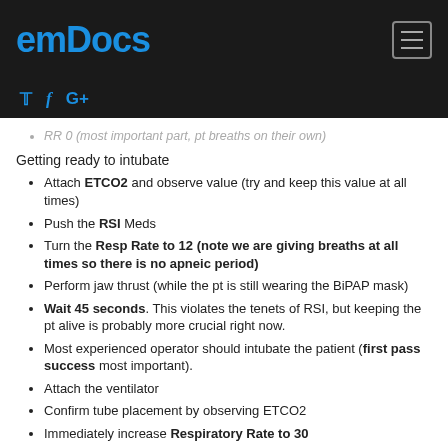emDocs
RR 0 (most important part, pt breaths on their own)
Getting ready to intubate
Attach ETCO2 and observe value (try and keep this value at all times)
Push the RSI Meds
Turn the Resp Rate to 12 (note we are giving breaths at all times so there is no apneic period)
Perform jaw thrust (while the pt is still wearing the BiPAP mask)
Wait 45 seconds. This violates the tenets of RSI, but keeping the pt alive is probably more crucial right now.
Most experienced operator should intubate the patient (first pass success most important).
Attach the ventilator
Confirm tube placement by observing ETCO2
Immediately increase Respiratory Rate to 30